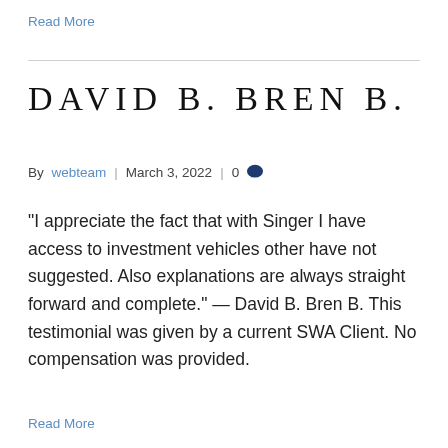Read More
DAVID B. BREN B.
By webteam | March 3, 2022 | 0
“I appreciate the fact that with Singer I have access to investment vehicles other have not suggested. Also explanations are always straight forward and complete.” — David B. Bren B. This testimonial was given by a current SWA Client. No compensation was provided.
Read More